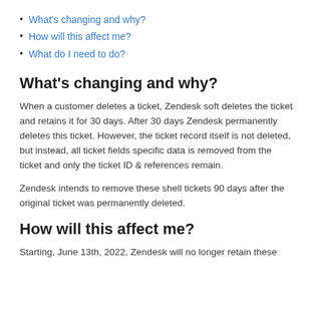What's changing and why?
How will this affect me?
What do I need to do?
What's changing and why?
When a customer deletes a ticket, Zendesk soft deletes the ticket and retains it for 30 days. After 30 days Zendesk permanently deletes this ticket. However, the ticket record itself is not deleted, but instead, all ticket fields specific data is removed from the ticket and only the ticket ID & references remain.
Zendesk intends to remove these shell tickets 90 days after the original ticket was permanently deleted.
How will this affect me?
Starting, June 13th, 2022, Zendesk will no longer retain these